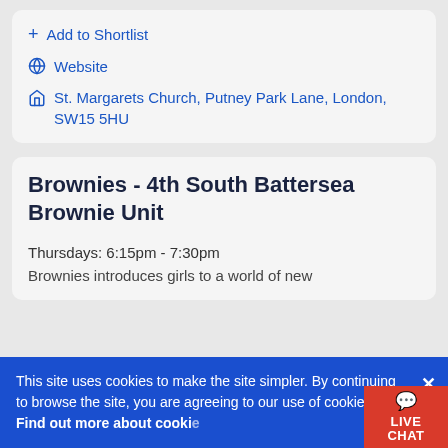+ Add to Shortlist
Website
St. Margarets Church, Putney Park Lane, London, SW15 5HU
Brownies - 4th South Battersea Brownie Unit
Thursdays: 6:15pm - 7:30pm
Brownies introduces girls to a world of new
This site uses cookies to make the site simpler. By continuing to browse the site, you are agreeing to our use of cookies. Find out more about cookies
LIVE CHAT